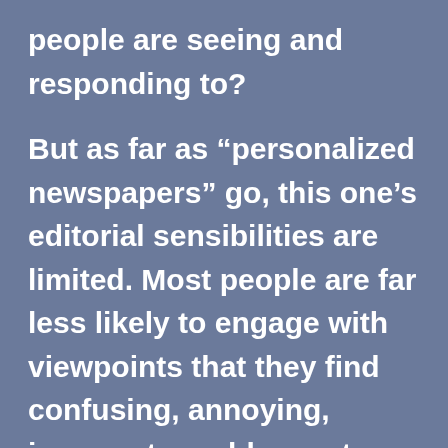people are seeing and responding to? But as far as “personalized newspapers” go, this one’s editorial sensibilities are limited. Most people are far less likely to engage with viewpoints that they find confusing, annoying, incorrect, or abhorrent. And